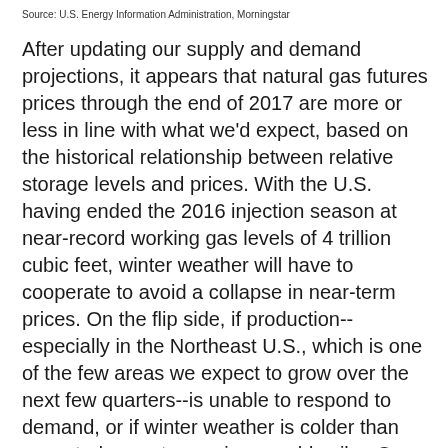Source: U.S. Energy Information Administration, Morningstar
After updating our supply and demand projections, it appears that natural gas futures prices through the end of 2017 are more or less in line with what we'd expect, based on the historical relationship between relative storage levels and prices. With the U.S. having ended the 2016 injection season at near-record working gas levels of 4 trillion cubic feet, winter weather will have to cooperate to avoid a collapse in near-term prices. On the flip side, if production--especially in the Northeast U.S., which is one of the few areas we expect to grow over the next few quarters--is unable to respond to demand, or if winter weather is colder than expected, near-term prices could spike. Over the next several months, we expect higher-than-normal withdrawals and lower-than-normal injections (driven by declining supply) will help bring down